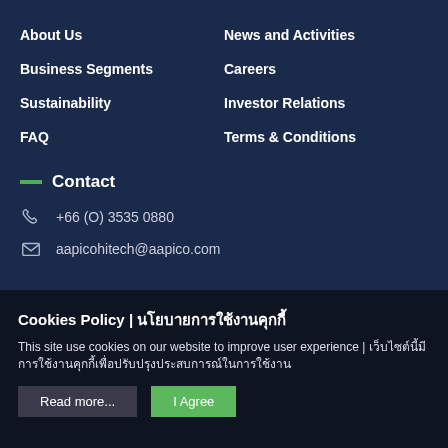About Us
News and Activities
Business Segments
Careers
Sustainability
Investor Relations
FAQ
Terms & Conditions
Contact
+66 (O) 3535 0880
aapicohitech@aapico.com
Cookies Policy | นโยบายการใช้งานคุกกี้
This site use cookies on our website to improve user experience | เว็บไซต์นี้มีการใช้งานคุกกี้เพื่อปรับปรุงประสบการณ์ในการใช้งาน
Read more...
I Agree